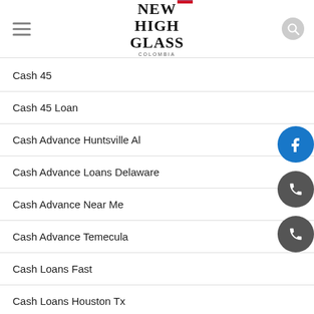[Figure (logo): New High Glass Colombia logo with Colombian flag, hamburger menu icon on the left, search icon on the right]
Cash 45
Cash 45 Loan
Cash Advance Huntsville Al
Cash Advance Loans Delaware
Cash Advance Near Me
Cash Advance Temecula
Cash Loans Fast
Cash Loans Houston Tx